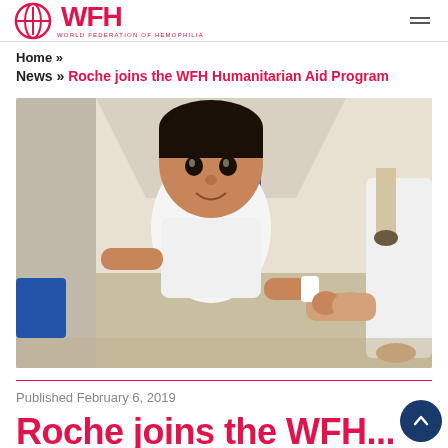WFH — World Federation of Hemophilia
Home »
News » Roche joins the WFH Humanitarian Aid Program
[Figure (photo): Young boy smiling in a hospital corridor, wearing a white t-shirt, with a bandage on his wrist, holding an adult's hand (person in white coat). Another person in blue scrubs visible in background.]
Published February 6, 2019
Roche joins the WFH...